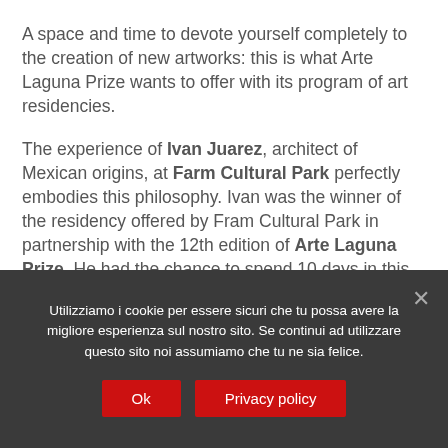A space and time to devote yourself completely to the creation of new artworks: this is what Arte Laguna Prize wants to offer with its program of art residencies.
The experience of Ivan Juarez, architect of Mexican origins, at Farm Cultural Park perfectly embodies this philosophy. Ivan was the winner of the residency offered by Fram Cultural Park in partnership with the 12th edition of Arte Laguna Prize. He had the chance to spend 10 days in this unique cultural center, where contemporary
Utilizziamo i cookie per essere sicuri che tu possa avere la migliore esperienza sul nostro sito. Se continui ad utilizzare questo sito noi assumiamo che tu ne sia felice.
Ok
Privacy policy